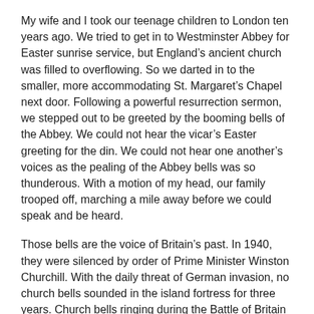My wife and I took our teenage children to London ten years ago. We tried to get in to Westminster Abbey for Easter sunrise service, but England's ancient church was filled to overflowing. So we darted in to the smaller, more accommodating St. Margaret's Chapel next door. Following a powerful resurrection sermon, we stepped out to be greeted by the booming bells of the Abbey. We could not hear the vicar's Easter greeting for the din. We could not hear one another's voices as the pealing of the Abbey bells was so thunderous. With a motion of my head, our family trooped off, marching a mile away before we could speak and be heard.
Those bells are the voice of Britain's past. In 1940, they were silenced by order of Prime Minister Winston Churchill. With the daily threat of German invasion, no church bells sounded in the island fortress for three years. Church bells ringing during the Battle of Britain would have signaled Hitler's landing. Only with the defeat of Rommel's Afrika Korps at El Alamein in November, 1942-where “the glint of victory” reflected off their soldiers’ helmets-did the church bells of Britain joyfully ring forth.